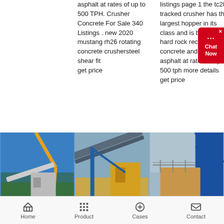asphalt at rates of up to 500 TPH. Crusher Concrete For Sale 340 Listings . new 2020 mustang rh26 rotating concrete crushersteel shear fit
get price
listings page 1 the tc20 tracked crusher has the largest hopper in its class and is built for big hard rock recycled concrete and recycled asphalt at rates of up to 500 tph more details
get price
[Figure (photo): Industrial crusher/conveyor machinery at a site with blue sky and palm trees in background]
[Figure (photo): Industrial machinery with conveyor belts against a blue sky]
[Figure (photo): Industrial crusher equipment with blue steel structure]
Home   Product   Cases   Contact